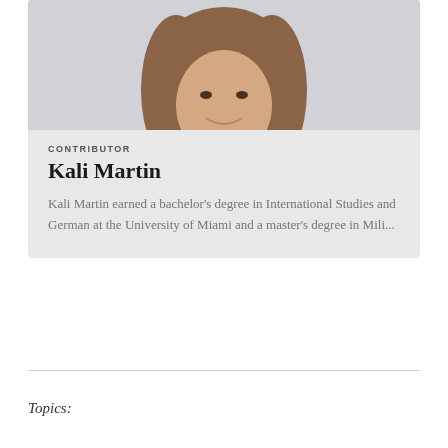[Figure (photo): Headshot photo of Kali Martin, a young woman with long brown hair, smiling, wearing a light blue top, against a light background.]
CONTRIBUTOR
Kali Martin
Kali Martin earned a bachelor's degree in International Studies and German at the University of Miami and a master's degree in Mili...
Topics: